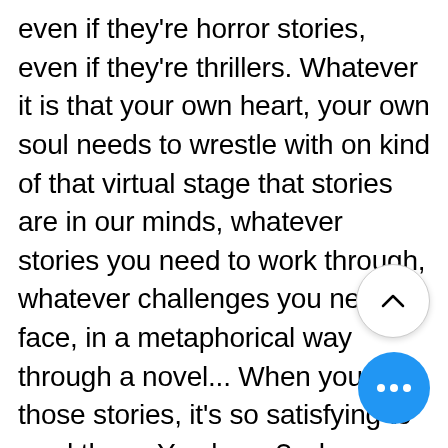even if they're horror stories, even if they're thrillers. Whatever it is that your own heart, your own soul needs to wrestle with on kind of that virtual stage that stories are in our minds, whatever stories you need to work through, whatever challenges you need to face, in a metaphorical way through a novel... When you find those stories, it's so satisfying to read them. You know? when you find the right story for you, whatever that story is that you need at that particular moment in your life, it's so satisfying that it feels like joy. And I think we should pay attention to that. I think you know, we grow up, and we go to school. And we have English teachers, and we want to be good students, and we absorb a lot of attitudes about what